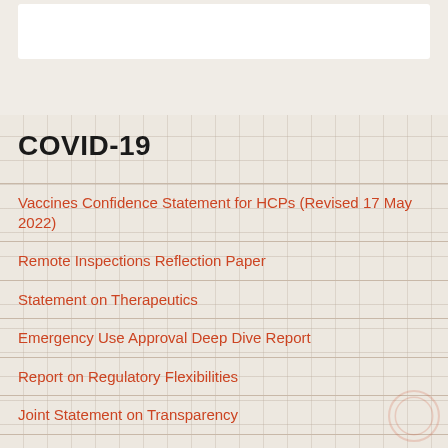COVID-19
Vaccines Confidence Statement for HCPs (Revised 17 May 2022)
Remote Inspections Reflection Paper
Statement on Therapeutics
Emergency Use Approval Deep Dive Report
Report on Regulatory Flexibilities
Joint Statement on Transparency
Statement on Continuation of Vaccine Trials
Joint Statement on Regulatory Alignment